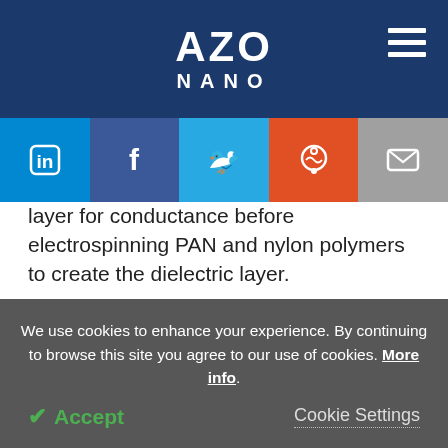AZO NANO
layer for conductance before electrospinning PAN and nylon polymers to create the dielectric layer.
With an improvement in triboelectric charge concentration generated by the nano/micro hybridized structure, the W-TENG could generate 13 times and 37.5 times more VOC and ISC than that
We use cookies to enhance your experience. By continuing to browse this site you agree to our use of cookies. More info.
Accept
Cookie Settings